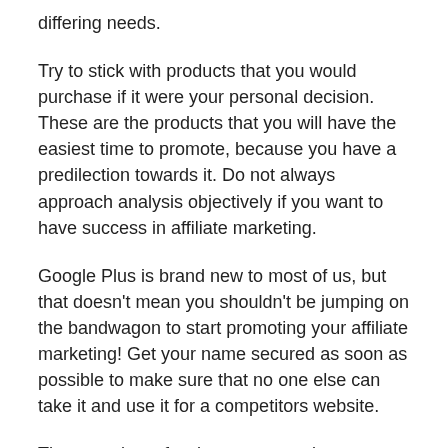differing needs.
Try to stick with products that you would purchase if it were your personal decision. These are the products that you will have the easiest time to promote, because you have a predilection towards it. Do not always approach analysis objectively if you want to have success in affiliate marketing.
Google Plus is brand new to most of us, but that doesn't mean you shouldn't be jumping on the bandwagon to start promoting your affiliate marketing! Get your name secured as soon as possible to make sure that no one else can take it and use it for a competitors website.
There are lots of webmasters earning great profits through affiliate marketing who are entirely self-taught. Success in affiliate marketing comes through hard work and that hard work starts with extensive learning. The ideas in this article could be just the beginning of a